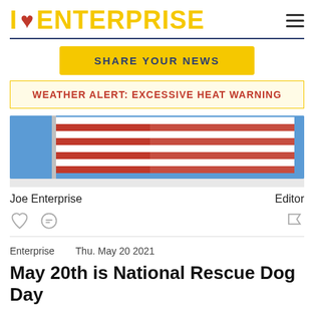I ♥ ENTERPRISE
SHARE YOUR NEWS
WEATHER ALERT: EXCESSIVE HEAT WARNING
[Figure (photo): American flag against blue sky, partial view from below]
Joe Enterprise   Editor
Enterprise   Thu. May 20 2021
May 20th is National Rescue Dog Day